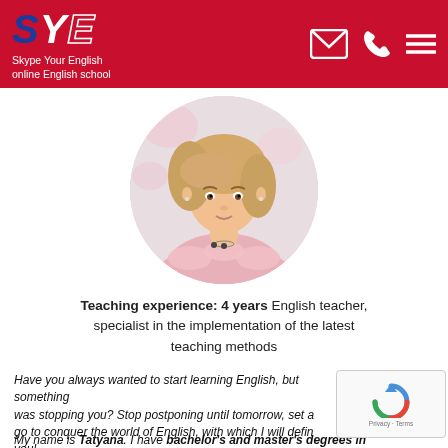SYE Skype Your English online English school
[Figure (photo): Circular profile photo of a young woman with blonde bangs wearing a pink ruffled top, against a light floral background]
Teaching experience: 4 years English teacher, specialist in the implementation of the latest teaching methods
Have you always wanted to start learning English, but something was stopping you? Stop postponing until tomorrow, set a go to conquer the world of English, with which I will defin you!
My name is Tatyana. I have bachelor's and master's degrees in